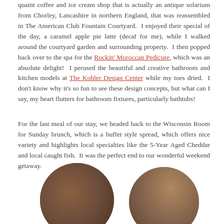quaint coffee and ice cream shop that is actually an antique solarium from Chorley, Lancashire in northern England, that was reassembled in The American Club Fountain Courtyard. I enjoyed their special of the day, a caramel apple pie latte (decaf for me), while I walked around the courtyard garden and surrounding property. I then popped back over to the spa for the Rockin' Moroccan Pedicure, which was an absolute delight! I perused the beautiful and creative bathroom and kitchen models at The Kohler Design Center while my toes dried. I don't know why it's so fun to see these design concepts, but what can I say, my heart flutters for bathroom fixtures, particularly bathtubs!
For the last meal of our stay, we headed back to the Wisconsin Room for Sunday brunch, which is a buffet style spread, which offers nice variety and highlights local specialties like the 5-Year Aged Cheddar and local caught fish. It was the perfect end to our wonderful weekend getaway.
[Figure (photo): Two circular cropped photos side by side at bottom of page, showing people or indoor scenes with warm brown tones]